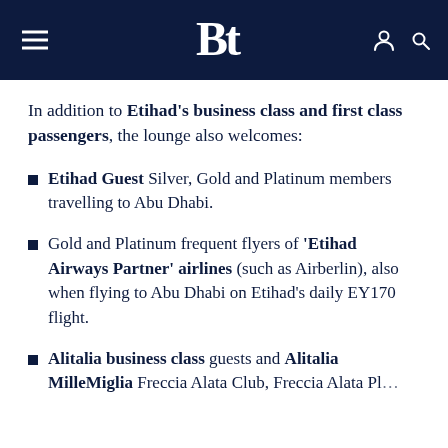Bt (logo with hamburger menu and icons)
In addition to Etihad's business class and first class passengers, the lounge also welcomes:
Etihad Guest Silver, Gold and Platinum members travelling to Abu Dhabi.
Gold and Platinum frequent flyers of 'Etihad Airways Partner' airlines (such as Airberlin), also when flying to Abu Dhabi on Etihad's daily EY170 flight.
Alitalia business class guests and Alitalia MilleMiglia Freccia Alata Club, Freccia Alata Plus Club and Freccia Alata Pl...